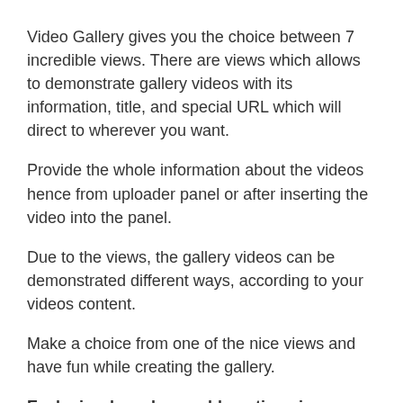Video Gallery gives you the choice between 7 incredible views. There are views which allows to demonstrate gallery videos with its information, title, and special URL which will direct to wherever you want.
Provide the whole information about the videos hence from uploader panel or after inserting the video into the panel.
Due to the views, the gallery videos can be demonstrated different ways, according to your videos content.
Make a choice from one of the nice views and have fun while creating the gallery.
Each view has changeable options in General Options section – General Options allows the users to change the settings for each view.